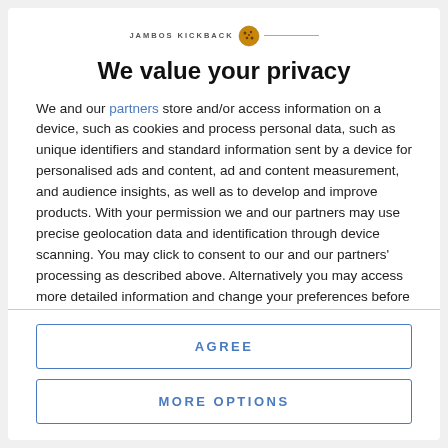[Figure (logo): Jambos Kickback logo with cookie icon and horizontal line]
We value your privacy
We and our partners store and/or access information on a device, such as cookies and process personal data, such as unique identifiers and standard information sent by a device for personalised ads and content, ad and content measurement, and audience insights, as well as to develop and improve products. With your permission we and our partners may use precise geolocation data and identification through device scanning. You may click to consent to our and our partners' processing as described above. Alternatively you may access more detailed information and change your preferences before consenting or to refuse consenting. Please note that some processing of your
AGREE
MORE OPTIONS